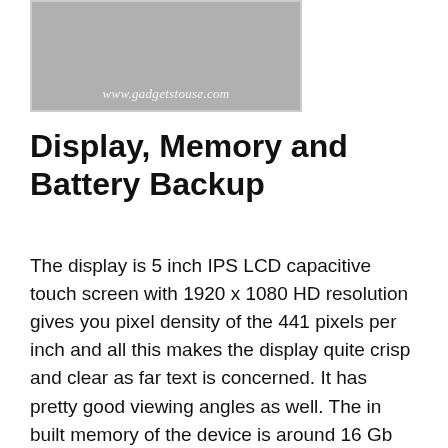[Figure (photo): A photo of a smartphone device with a watermark reading 'www.gadgetstouse.com' at the bottom]
Display, Memory and Battery Backup
The display is 5 inch IPS LCD capacitive touch screen with 1920 x 1080 HD resolution gives you pixel density of the 441 pixels per inch and all this makes the display quite crisp and clear as far text is concerned. It has pretty good viewing angles as well. The in built memory of the device is around 16 Gb out of which around 12 GB approx is available to the user, you cannot use Micro SD